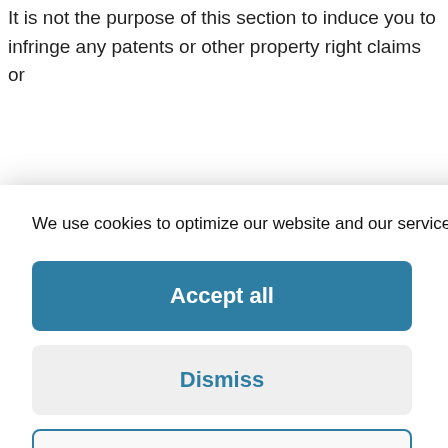It is not the purpose of this section to induce you to infringe any patents or other property right claims or
We use cookies to optimize our website and our service.  Cookie Policy -  Impressum
Accept all
Dismiss
Preferences